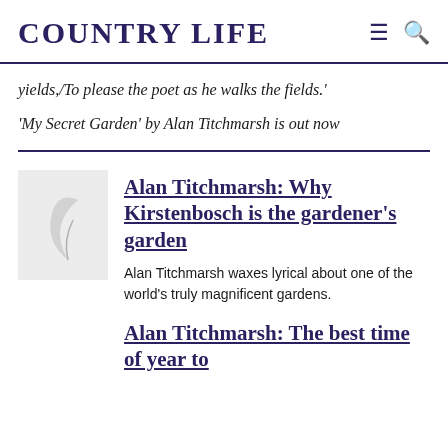COUNTRY LIFE
yields,/To please the poet as he walks the fields.'
'My Secret Garden' by Alan Titchmarsh is out now
Alan Titchmarsh: Why Kirstenbosch is the gardener's garden
Alan Titchmarsh waxes lyrical about one of the world's truly magnificent gardens.
Alan Titchmarsh: The best time of year to